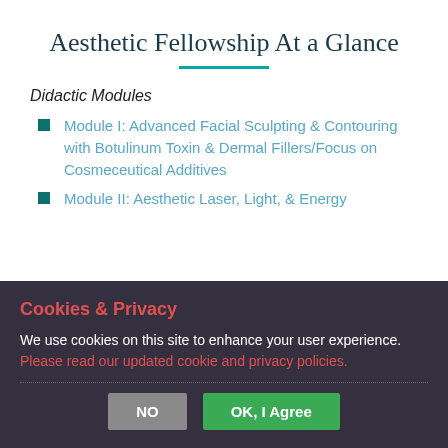Aesthetic Fellowship At a Glance
Didactic Modules
Module I: Advanced Facial Sculpting & Contouring with Botulinum Toxin & Dermal Fillers/Focus on Cosmeceutical Additives
Module II: Aesthetic Laser, Light, & Energy
Cookies & Privacy
We use cookies on this site to enhance your user experience.
Please read our updated cookie and privacy policies.